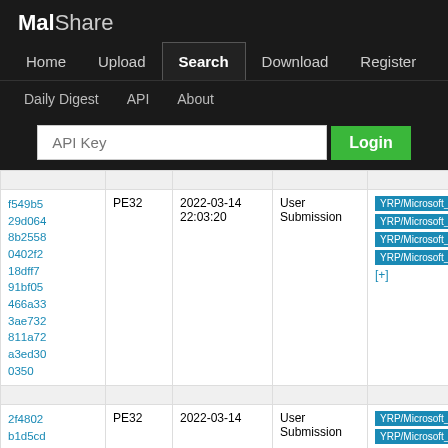MalShare
Home | Upload | Search | Download | Register | Daily Digest | API | About
| Hash | Type | Date | Source | Tags |
| --- | --- | --- | --- | --- |
| f549b529d0648b25580402f218dff791bf05466a333ae732811a72a3ed300350 | PE32 | 2022-03-14 22:03:20 | User Submission | YRP/Microsoft_Visual_Basic... YRP/Microsoft_Visual_Basic... YRP/Microsoft_Visual_Basic... YRP/Microsoft_Visual_Basic... [+] |
| 2f4802b1d5cd... | PE32 | 2022-03-14 | User Submission | YRP/Microsoft_Visual_Basic... YRP/Microsoft_Visual_Basic... |